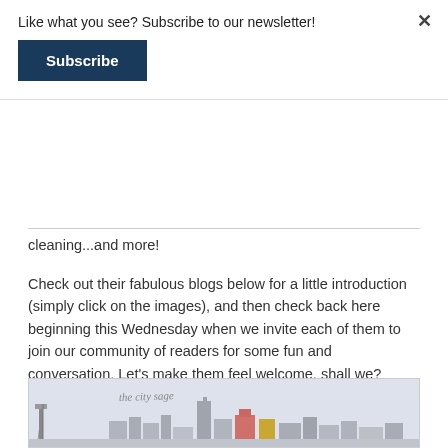Like what you see? Subscribe to our newsletter!
Subscribe
...your groups getting together, spring cleaning...and more!
Check out their fabulous blogs below for a little introduction (simply click on the images), and then check back here beginning this Wednesday when we invite each of them to join our community of readers for some fun and conversation. Let’s make them feel welcome, shall we?
Have a good weekend!
[Figure (illustration): The City Sage blog header image showing a city skyline with buildings and text reading 'the city sage' in cursive]